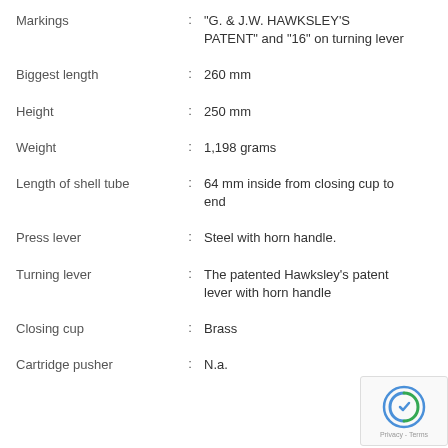Markings : "G. & J.W. HAWKSLEY'S PATENT" and "16" on turning lever
Biggest length : 260 mm
Height : 250 mm
Weight : 1,198 grams
Length of shell tube : 64 mm inside from closing cup to end
Press lever : Steel with horn handle.
Turning lever : The patented Hawksley's patent lever with horn handle
Closing cup : Brass
Cartridge pusher : N.a.